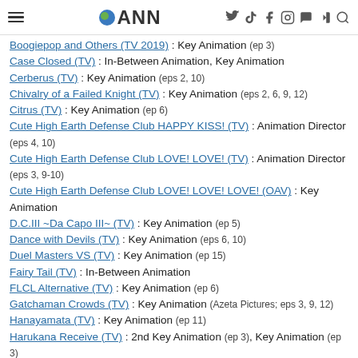ANN (Anime News Network) navigation header
Boogiepop and Others (TV 2019) : Key Animation (ep 3)
Case Closed (TV) : In-Between Animation, Key Animation
Cerberus (TV) : Key Animation (eps 2, 10)
Chivalry of a Failed Knight (TV) : Key Animation (eps 2, 6, 9, 12)
Citrus (TV) : Key Animation (ep 6)
Cute High Earth Defense Club HAPPY KISS! (TV) : Animation Director (eps 4, 10)
Cute High Earth Defense Club LOVE! LOVE! (TV) : Animation Director (eps 3, 9-10)
Cute High Earth Defense Club LOVE! LOVE! LOVE! (OAV) : Key Animation
D.C.III ~Da Capo III~ (TV) : Key Animation (ep 5)
Dance with Devils (TV) : Key Animation (eps 6, 10)
Duel Masters VS (TV) : Key Animation (ep 15)
Fairy Tail (TV) : In-Between Animation
FLCL Alternative (TV) : Key Animation (ep 6)
Gatchaman Crowds (TV) : Key Animation (Azeta Pictures; eps 3, 9, 12)
Hanayamata (TV) : Key Animation (ep 11)
Harukana Receive (TV) : 2nd Key Animation (ep 3), Key Animation (ep 3)
Heybot! (TV) : Key Animation (OP)